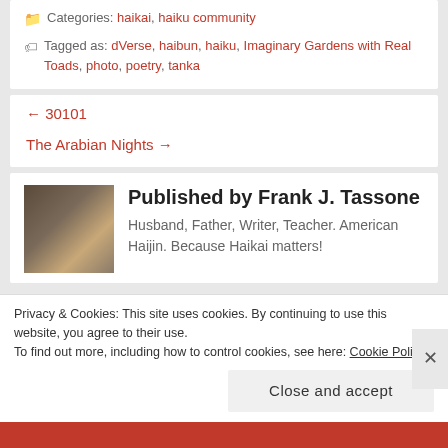Categories: haikai, haiku community
Tagged as: dVerse, haibun, haiku, Imaginary Gardens with Real Toads, photo, poetry, tanka
← 30101
The Arabian Nights →
Published by Frank J. Tassone
Husband, Father, Writer, Teacher. American Haijin. Because Haikai matters!
Privacy & Cookies: This site uses cookies. By continuing to use this website, you agree to their use. To find out more, including how to control cookies, see here: Cookie Policy
Close and accept